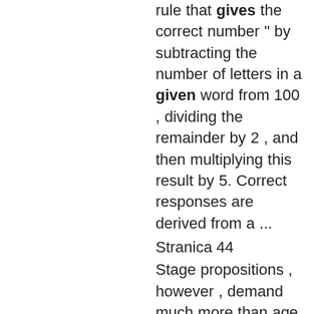rule that gives the correct number " by subtracting the number of letters in a given word from 100 , dividing the remainder by 2 , and then multiplying this result by 5. Correct responses are derived from a ...
Stranica 44
Stage propositions , however , demand much more than age trends : they assume ( 1 ) that there is uniformity of judgment at any given level ; ( 2 ) that a person cannot evaluate conduct in terms of a given moral standard without first ...
Stranica 161
Most successes do not bring lasting satisfaction ;